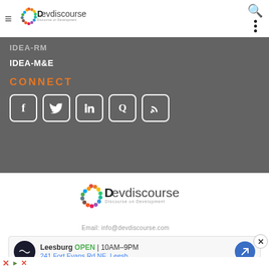Devdiscourse — Discourse on Development
IDEA-RM
IDEA-M&E
CONNECT
[Figure (logo): Social media icon buttons: Facebook, Twitter, LinkedIn, Quora, RSS]
[Figure (logo): Devdiscourse logo — Discourse on Development with colorful circular SDG wheel]
Email: info@devdiscourse.com
[Figure (infographic): Advertisement banner: Leesburg OPEN 10AM-9PM, 241 Fort Evans Rd NE, Leesb...]